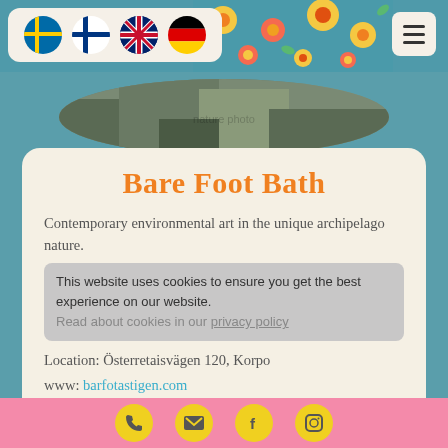[Figure (screenshot): Website header with language flag icons (Swedish, Finnish, British, German), floral decorative background, and hamburger menu button]
[Figure (photo): Oval-cropped nature/tree photo strip]
Bare Foot Bath
Contemporary environmental art in the unique archipelago nature.
This website uses cookies to ensure you get the best experience on our website. Read about cookies in our privacy policy
Location: Österretaisvägen 120, Korpo
www: barfotastigen.com
Accept
[Figure (screenshot): Pink footer bar with four circular yellow social/contact icons: phone, email, Facebook, Instagram]